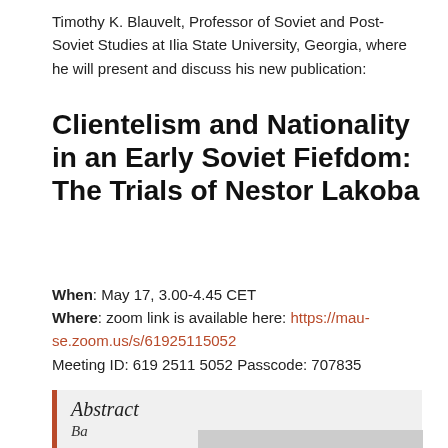Timothy K. Blauvelt, Professor of Soviet and Post-Soviet Studies at Ilia State University, Georgia, where he will present and discuss his new publication:
Clientelism and Nationality in an Early Soviet Fiefdom: The Trials of Nestor Lakoba
When: May 17, 3.00-4.45 CET
Where: zoom link is available here: https://mau-se.zoom.us/s/61925115052
Meeting ID: 619 2511 5052 Passcode: 707835
Abstract
Ba